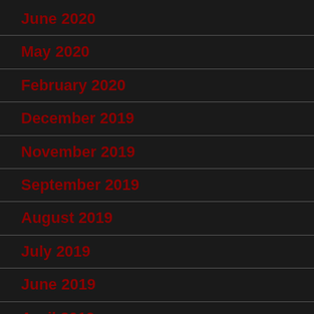June 2020
May 2020
February 2020
December 2019
November 2019
September 2019
August 2019
July 2019
June 2019
April 2019
March 2019